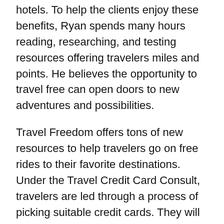hotels. To help the clients enjoy these benefits, Ryan spends many hours reading, researching, and testing resources offering travelers miles and points. He believes the opportunity to travel free can open doors to new adventures and possibilities.
Travel Freedom offers tons of new resources to help travelers go on free rides to their favorite destinations. Under the Travel Credit Card Consult, travelers are led through a process of picking suitable credit cards. They will also be asked to state their home airport and a brief on how they would like to travel. For instance, one can choose to travel domestic, international and with family, or solo. Free Credit Score Estimate is offered through a partnership with Credit Sesame. Under the arrangements, the